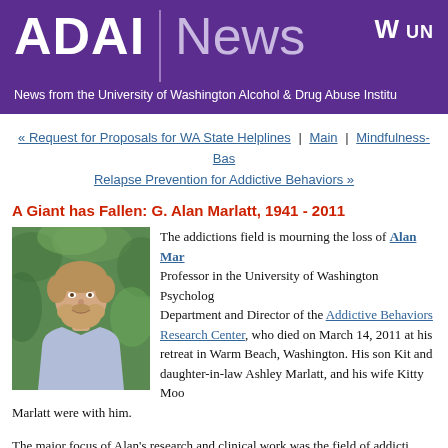ADAI | News — News from the University of Washington Alcohol & Drug Abuse Institute
« Request for Proposals for WA State Helplines | Main | Mindfulness-Based Relapse Prevention for Addictive Behaviors »
A Giant has Fallen: G. Alan Marlatt, 1941 - 2011
[Figure (photo): Headshot photo of G. Alan Marlatt, a middle-aged man with a beard, wearing a light blue shirt, with green foliage in the background]
The addictions field is mourning the loss of Alan Marlatt, Professor in the University of Washington Psychology Department and Director of the Addictive Behaviors Research Center, who died on March 14, 2011 at his retreat in Warm Beach, Washington. His son Kit and daughter-in-law Ashley Marlatt, and his wife Kitty Moore Marlatt were with him.
The major focus of Alan's research and clinical work was the field of addictive behaviors, especially relapse prevention and harm reduction, represented in part by more than 300 articles and numerous books he published.
In 1990, Alan was awarded the Jellinek Memorial Award for outstanding